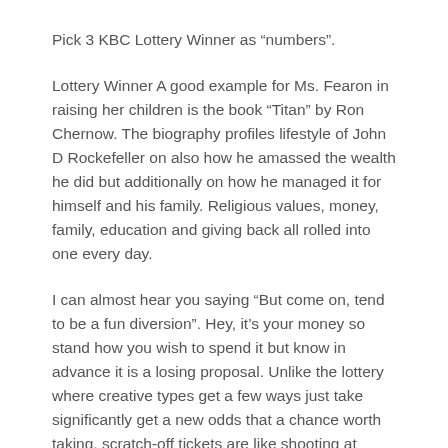Pick 3 KBC Lottery Winner as “numbers”.
Lottery Winner A good example for Ms. Fearon in raising her children is the book “Titan” by Ron Chernow. The biography profiles lifestyle of John D Rockefeller on also how he amassed the wealth he did but additionally on how he managed it for himself and his family. Religious values, money, family, education and giving back all rolled into one every day.
I can almost hear you saying “But come on, tend to be a fun diversion”. Hey, it’s your money so stand how you wish to spend it but know in advance it is a losing proposal. Unlike the lottery where creative types get a few ways just take significantly get a new odds that a chance worth taking, scratch-off tickets are like shooting at night. Often the bullet will hit you!